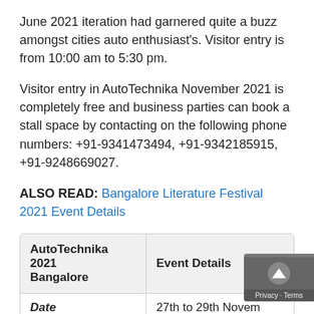June 2021 iteration had garnered quite a buzz amongst cities auto enthusiast's. Visitor entry is from 10:00 am to 5:30 pm.
Visitor entry in AutoTechnika November 2021 is completely free and business parties can book a stall space by contacting on the following phone numbers: +91-9341473494, +91-9342185915, +91-9248669027.
ALSO READ: Bangalore Literature Festival 2021 Event Details
| AutoTechnika 2021 Bangalore | Event Details |
| --- | --- |
| Date | 27th to 29th November 2021 |